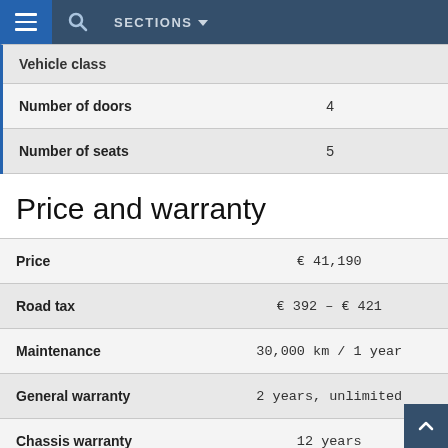SECTIONS
|  |  |
| --- | --- |
| Vehicle class |  |
| Number of doors | 4 |
| Number of seats | 5 |
Price and warranty
|  |  |
| --- | --- |
| Price | € 41,190 |
| Road tax | € 392 – € 421 |
| Maintenance | 30,000 km / 1 year |
| General warranty | 2 years, unlimited |
| Chassis warranty | 12 years |